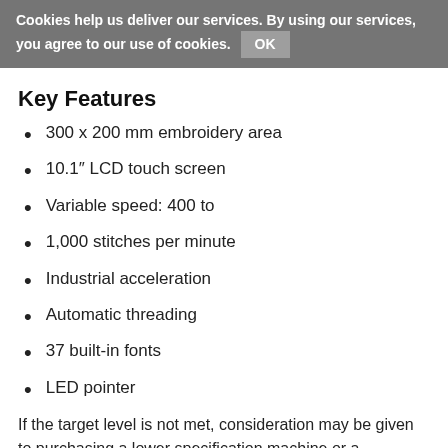Cookies help us deliver our services. By using our services, you agree to our use of cookies. OK
Key Features
300 x 200 mm embroidery area
10.1″ LCD touch screen
Variable speed: 400 to
1,000 stitches per minute
Industrial acceleration
Automatic threading
37 built-in fonts
LED pointer
If the target level is not met, consideration may be given to purchasing a lower specification machine or a secondhand machine instead. However, if this should happen